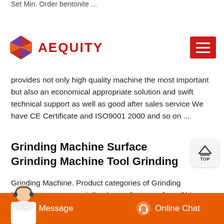Set Min. Order bentonite ...
[Figure (logo): Aequity logo with colorful diamond/arrow shape and red AEQUITY text, plus red hamburger menu button on the right]
provides not only high quality machine the most important but also an economical appropriate solution and swift technical support as well as good after sales service We have CE Certificate and ISO9001 2000 and so on ...
Grinding Machine Surface Grinding Machine Tool Grinding
Grinding Machine. Product categories of Grinding Machine, we are specialized manufacturers from China, Grinding Machine, Surface Grinding Machine suppliersfactory, wholesale high-quality products of Tool Grinding Machine R amp D and manufacturing, we have the perfect after-sales service and technical support. Look forward to
[Figure (other): Orange chat bar at bottom with Message button on left and Online Chat button with headset icon on right, and customer service avatar on bottom left]